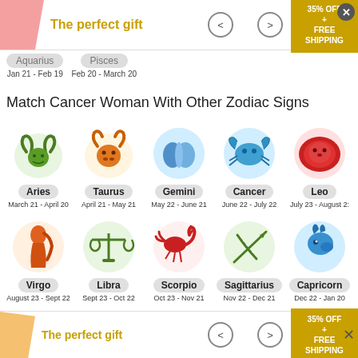[Figure (infographic): Top advertisement banner with gift box image, 'The perfect gift' text in gold, navigation arrows, and '35% OFF + FREE SHIPPING' discount box in gold]
Aquarius Jan 21 - Feb 19    Pisces Feb 20 - March 20
Match Cancer Woman With Other Zodiac Signs
[Figure (infographic): Grid of zodiac sign icons with labels: Row 1: Aries (March 21 - April 20), Taurus (April 21 - May 21), Gemini (May 22 - June 21), Cancer (June 22 - July 22), Leo (July 23 - August 2?). Row 2: Virgo (August 23 - Sept 22), Libra (Sept 23 - Oct 22), Scorpio (Oct 23 - Nov 21), Sagittarius (Nov 22 - Dec 21), Capricorn (Dec 22 - Jan 20). Each sign has a colorful icon and date range label.]
[Figure (infographic): Bottom advertisement banner with gift box image, 'The perfect gift' text in gold, navigation arrows, and '35% OFF + FREE SHIPPING' discount box in gold. Close X button visible.]